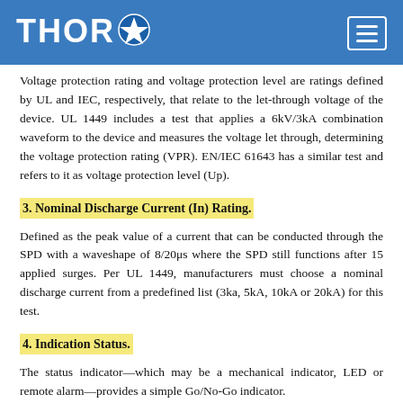THOR (logo with star icon and hamburger menu)
Voltage protection rating and voltage protection level are ratings defined by UL and IEC, respectively, that relate to the let-through voltage of the device. UL 1449 includes a test that applies a 6kV/3kA combination waveform to the device and measures the voltage let through, determining the voltage protection rating (VPR). EN/IEC 61643 has a similar test and refers to it as voltage protection level (Up).
3. Nominal Discharge Current (In) Rating.
Defined as the peak value of a current that can be conducted through the SPD with a waveshape of 8/20μs where the SPD still functions after 15 applied surges. Per UL 1449, manufacturers must choose a nominal discharge current from a predefined list (3ka, 5kA, 10kA or 20kA) for this test.
4. Indication Status.
The status indicator—which may be a mechanical indicator, LED or remote alarm—provides a simple Go/No-Go indicator.
Surge rating is something many consider a key factor for SPD